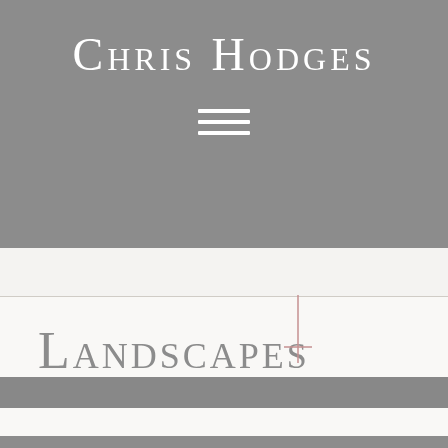Chris Hodges
[Figure (other): Hamburger menu icon — three horizontal white lines]
Landscapes